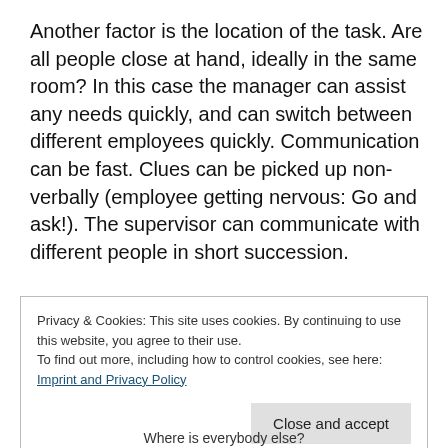Another factor is the location of the task. Are all people close at hand, ideally in the same room? In this case the manager can assist any needs quickly, and can switch between different employees quickly. Communication can be fast. Clues can be picked up non-verbally (employee getting nervous: Go and ask!). The supervisor can communicate with different people in short succession.
Privacy & Cookies: This site uses cookies. By continuing to use this website, you agree to their use.
To find out more, including how to control cookies, see here:
Imprint and Privacy Policy
Close and accept
Where is everybody else?